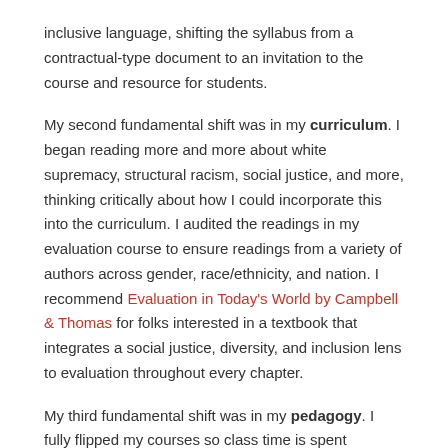inclusive language, shifting the syllabus from a contractual-type document to an invitation to the course and resource for students.
My second fundamental shift was in my curriculum. I began reading more and more about white supremacy, structural racism, social justice, and more, thinking critically about how I could incorporate this into the curriculum. I audited the readings in my evaluation course to ensure readings from a variety of authors across gender, race/ethnicity, and nation. I recommend Evaluation in Today's World by Campbell & Thomas for folks interested in a textbook that integrates a social justice, diversity, and inclusion lens to evaluation throughout every chapter.
My third fundamental shift was in my pedagogy. I fully flipped my courses so class time is spent applying, analyzing, evaluating, and creating in group settings with instructor facilitation and support. I better implemented principles of universal-design for learning and trauma-informed pedagogy into my courses. I began using